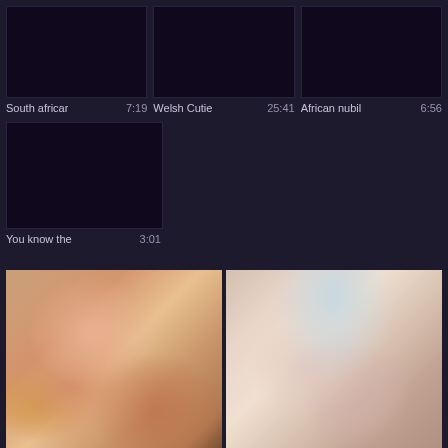[Figure (screenshot): Video thumbnail grid showing 3 dark/black video thumbnails in top row]
South african  7:19  Welsh Cutie  25:41  African nubil  6:56
[Figure (screenshot): Single dark video thumbnail in second row]
You know the  3:01
[Figure (photo): Two photo thumbnails side by side at bottom of page]